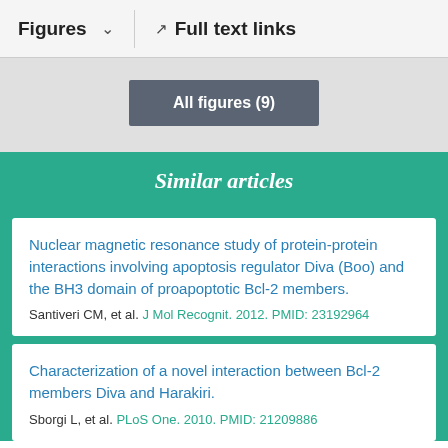Figures   ∨   Full text links
All figures (9)
Similar articles
Nuclear magnetic resonance study of protein-protein interactions involving apoptosis regulator Diva (Boo) and the BH3 domain of proapoptotic Bcl-2 members.
Santiveri CM, et al. J Mol Recognit. 2012. PMID: 23192964
Characterization of a novel interaction between Bcl-2 members Diva and Harakiri.
Sborgi L, et al. PLoS One. 2010. PMID: 21209886